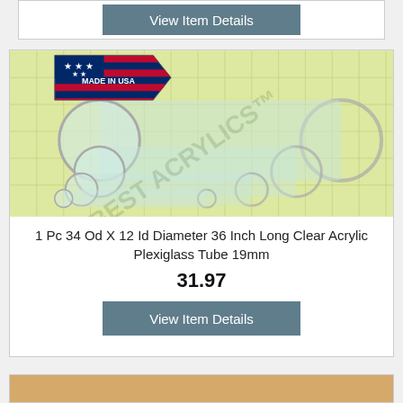[Figure (screenshot): Partial view item card top — View Item Details button]
[Figure (photo): Clear acrylic plexiglass tubes of various diameters arranged on a green grid background, with a Made in USA label in upper left and Best Acrylics watermark]
1 Pc 34 Od X 12 Id Diameter 36 Inch Long Clear Acrylic Plexiglass Tube 19mm
31.97
View Item Details
[Figure (photo): Partial view of bottom product card showing a golden/brown colored item]